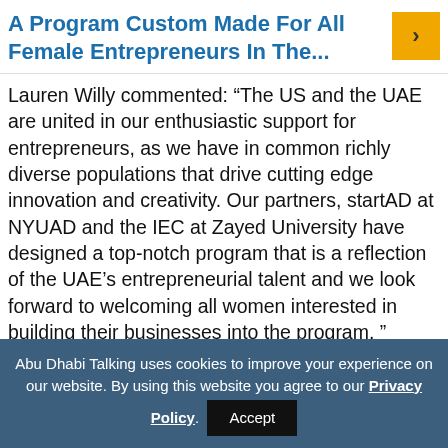A Program Custom Made For All Female Entrepreneurs In The...
Lauren Willy commented: “The US and the UAE are united in our enthusiastic support for entrepreneurs, as we have in common richly diverse populations that drive cutting edge innovation and creativity. Our partners, startAD at NYUAD and the IEC at Zayed University have designed a top-notch program that is a reflection of the UAE’s entrepreneurial talent and we look forward to welcoming all women interested in building their businesses into the program. ”
Abu Dhabi Talking uses cookies to improve your experience on our website. By using this website you agree to our Privacy Policy. Accept